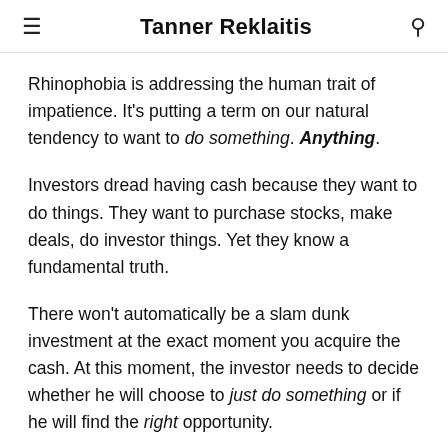Tanner Reklaitis
Rhinophobia is addressing the human trait of impatience. It's putting a term on our natural tendency to want to do something. Anything.
Investors dread having cash because they want to do things. They want to purchase stocks, make deals, do investor things. Yet they know a fundamental truth.
There won't automatically be a slam dunk investment at the exact moment you acquire the cash. At this moment, the investor needs to decide whether he will choose to just do something or if he will find the right opportunity.
Will the investor wait to find the right opportunity or will he